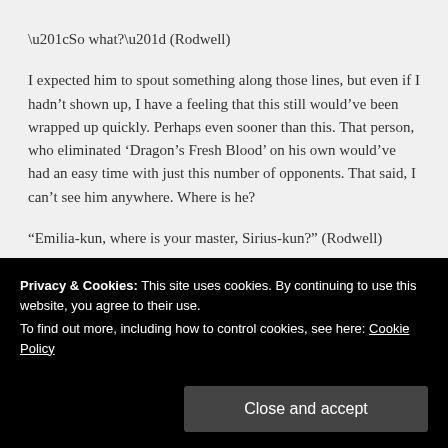“So what?” (Rodwell)
I expected him to spout something along those lines, but even if I hadn’t shown up, I have a feeling that this still would’ve been wrapped up quickly. Perhaps even sooner than this. That person, who eliminated ‘Dragon’s Fresh Blood’ on his own would’ve had an easy time with just this number of opponents. That said, I can’t see him anywhere. Where is he?
“Emilia-kun, where is your master, Sirius-kun?” (Rodwell)
“Ah, yes. Sirius-sama is acting separately while still secretly
Privacy & Cookies: This site uses cookies. By continuing to use this website, you agree to their use.
To find out more, including how to control cookies, see here: Cookie Policy
Close and accept